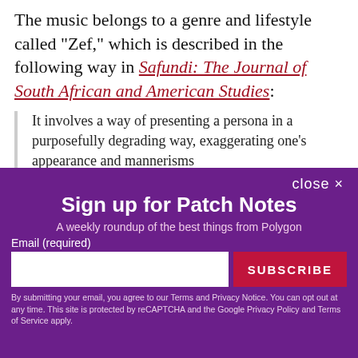The music belongs to a genre and lifestyle called "Zef," which is described in the following way in Safundi: The Journal of South African and American Studies:
It involves a way of presenting a persona in a purposefully degrading way, exaggerating one's appearance and mannerisms
[Figure (screenshot): Newsletter signup modal overlay for Polygon's Patch Notes. Contains title 'Sign up for Patch Notes', subtitle 'A weekly roundup of the best things from Polygon', email input field, SUBSCRIBE button, and privacy fine print.]